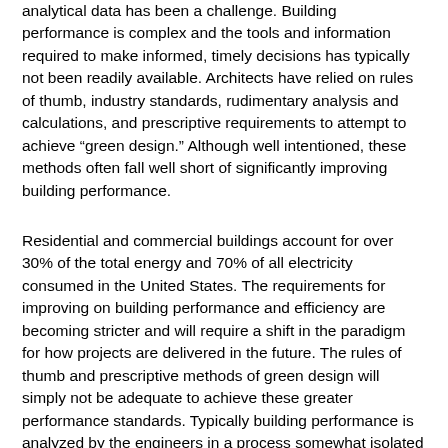analytical data has been a challenge.  Building performance is complex and the tools and information required to make informed, timely decisions has typically not been readily available.  Architects have relied on rules of thumb, industry standards, rudimentary analysis and calculations, and prescriptive requirements to attempt to achieve “green design.”  Although well intentioned, these methods often fall well short of significantly improving building performance.
Residential and commercial buildings account for over 30% of the total energy and 70% of all electricity consumed in the United States.  The requirements for improving on building performance and efficiency are becoming stricter and will require a shift in the paradigm for how projects are delivered in the future.  The rules of thumb and prescriptive methods of green design will simply not be adequate to achieve these greater performance standards.  Typically building performance is analyzed by the engineers in a process somewhat isolated from the architects and occurring after the